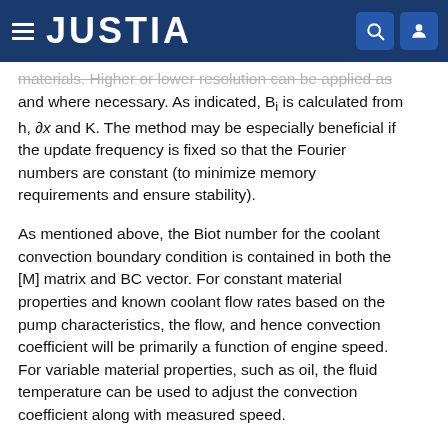JUSTIA
materials. Higher or lower resolution can be applied as and where necessary. As indicated, Bi is calculated from h, ∂x and K. The method may be especially beneficial if the update frequency is fixed so that the Fourier numbers are constant (to minimize memory requirements and ensure stability).
As mentioned above, the Biot number for the coolant convection boundary condition is contained in both the [M] matrix and BC vector. For constant material properties and known coolant flow rates based on the pump characteristics, the flow, and hence convection coefficient will be primarily a function of engine speed. For variable material properties, such as oil, the fluid temperature can be used to adjust the convection coefficient along with measured speed.
In further implementations of the current subject